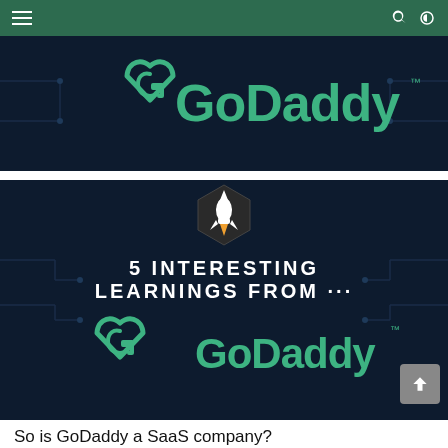Navigation header with hamburger menu, search icon, and dark mode toggle
[Figure (logo): GoDaddy logo on dark navy background with teal GoDaddy wordmark and heart/G icon]
[Figure (infographic): Dark navy background infographic with rocket icon in hexagon, text '5 INTERESTING LEARNINGS FROM ...' and GoDaddy logo below]
So is GoDaddy a SaaS company?